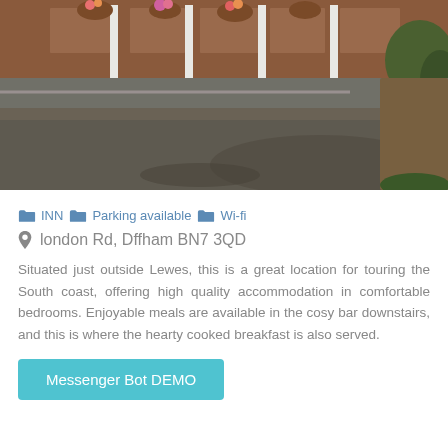[Figure (photo): Street-level photo showing a road and pavement in front of a row of brick buildings with white pillars and flower pots, taken in a village setting near Lewes, UK.]
🗂 INN  🗂 Parking available  🗂 Wi-fi
📍 london Rd, Dffham BN7 3QD
Situated just outside Lewes, this is a great location for touring the South coast, offering high quality accommodation in comfortable bedrooms. Enjoyable meals are available in the cosy bar downstairs, and this is where the hearty cooked breakfast is also served.
Messenger Bot DEMO